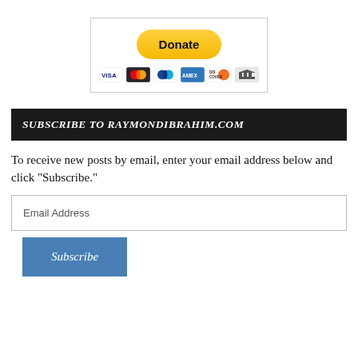[Figure (other): PayPal Donate button with payment card icons (Visa, Mastercard, PayPal, AmEx, Discover, bank transfer) inside a bordered box]
SUBSCRIBE TO RAYMONDIBRAHIM.COM
To receive new posts by email, enter your email address below and click "Subscribe."
Email Address
Subscribe